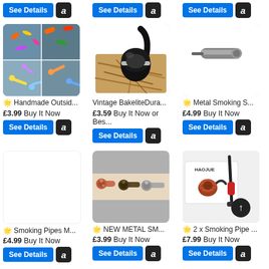[Figure (other): See Details button with Amazon icon - top row left]
[Figure (other): See Details button with Amazon icon - top row center]
[Figure (other): See Details button with Amazon icon - top row right]
[Figure (photo): Colorful handmade glass smoking pipes on blue background]
🌟 Handmade Outsid...
£3.99 Buy It Now
[Figure (other): See Details + Amazon button]
[Figure (photo): Vintage black bakelite smoking pipe on tobacco leaves]
Vintage BakeliteDura...
£3.59 Buy It Now or Bes...
[Figure (other): See Details + Amazon button]
[Figure (photo): Metal smoking pipe product]
🌟 Metal Smoking S...
£4.99 Buy It Now
[Figure (other): See Details + Amazon button]
[Figure (other): Smoking Pipes M... empty image placeholder]
🌟 Smoking Pipes M...
£4.99 Buy It Now
[Figure (other): See Details + Amazon button]
[Figure (photo): NEW METAL skull smoking pipes in copper, bronze, silver]
🌟 NEW METAL SM...
£3.99 Buy It Now
[Figure (other): See Details + Amazon button]
[Figure (photo): 2x Smoking Pipe set - Haojue brand, red briar pipe with black cleaning tool]
🌟 2 x Smoking Pipe ...
£7.99 Buy It Now
[Figure (other): See Details + Amazon button]